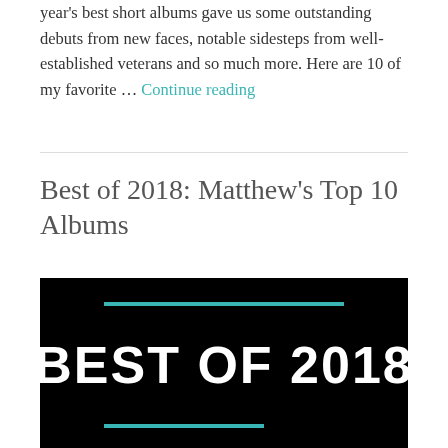year's best short albums gave us some outstanding debuts from new faces, notable sidesteps from well-established veterans and so much more. Here are 10 of my favorite … Continue reading
Best of 2018: Matthew's Top 10 Albums
[Figure (illustration): Black background image with a horizontal cyan bar at the top, bold white text reading 'BEST OF 2018' in the center, and a horizontal cyan bar at the bottom.]